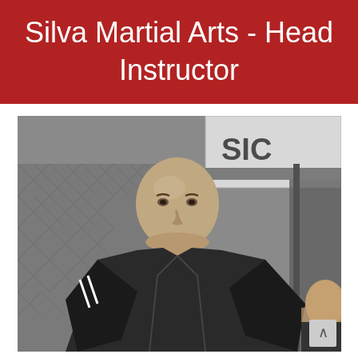Silva Martial Arts - Head Instructor
[Figure (photo): Black and white photograph of a bald man wearing a martial arts gi (dark jacket with white stripes on the sleeve), seated or standing in front of a chain-link fence background typical of an MMA gym. A banner with partial text visible in the upper right background. The man is looking at the camera with a slight smile.]